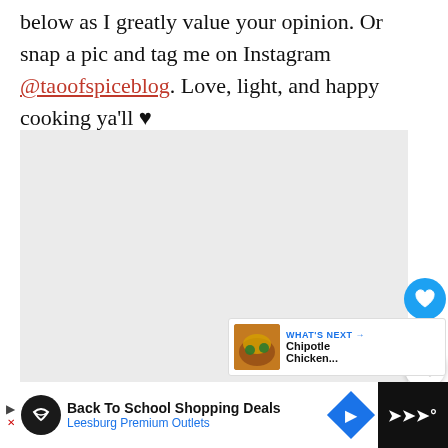below as I greatly value your opinion. Or snap a pic and tag me on Instagram @taoofspiceblog. Love, light, and happy cooking ya'll ♥
[Figure (photo): Large image area (food photo placeholder), light gray background]
126
WHAT'S NEXT → Chipotle Chicken...
[Figure (screenshot): Advertisement bar at bottom: Back To School Shopping Deals, Leesburg Premium Outlets]